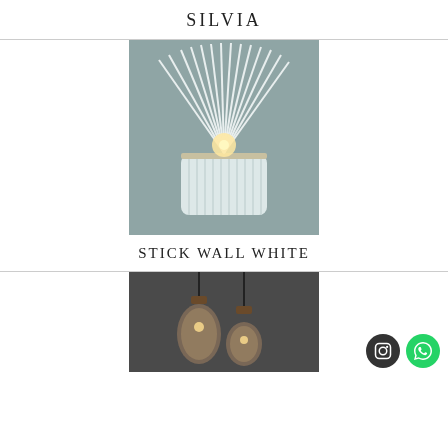SILVIA
[Figure (photo): White wall sconce light fixture named STICK WALL WHITE, featuring white vertical rods fanning outward from a cylindrical white base, with a visible bulb inside, mounted on a grey wall.]
STICK WALL WHITE
[Figure (photo): Two glass pendant lights hanging from black cords against a dark grey background. The pendants have amber/smoked glass in different bulbous shapes with visible Edison-style filament bulbs inside.]